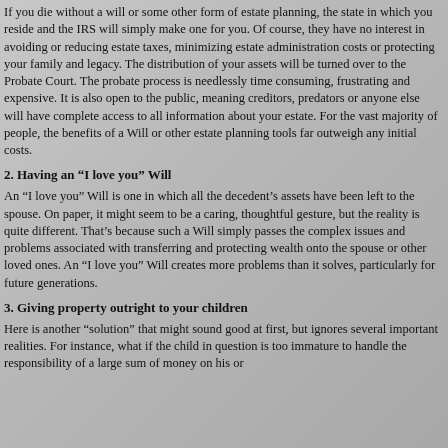If you die without a will or some other form of estate planning, the state in which you reside and the IRS will simply make one for you. Of course, they have no interest in avoiding or reducing estate taxes, minimizing estate administration costs or protecting your family and legacy. The distribution of your assets will be turned over to the Probate Court. The probate process is needlessly time consuming, frustrating and expensive. It is also open to the public, meaning creditors, predators or anyone else will have complete access to all information about your estate. For the vast majority of people, the benefits of a Will or other estate planning tools far outweigh any initial costs.
2. Having an “I love you” Will
An “I love you” Will is one in which all the decedent’s assets have been left to the spouse. On paper, it might seem to be a caring, thoughtful gesture, but the reality is quite different. That’s because such a Will simply passes the complex issues and problems associated with transferring and protecting wealth onto the spouse or other loved ones. An “I love you” Will creates more problems than it solves, particularly for future generations.
3. Giving property outright to your children
Here is another “solution” that might sound good at first, but ignores several important realities. For instance, what if the child in question is too immature to handle the responsibility of a large sum of money on his or